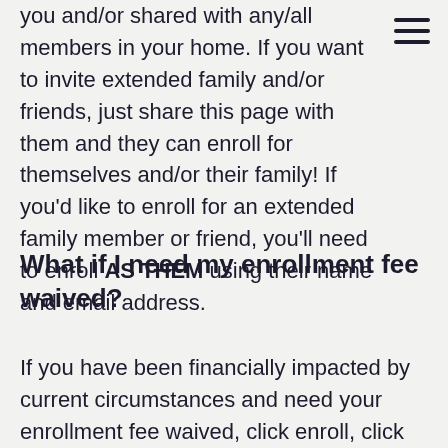you and/or shared with any/all members in your home. If you want to invite extended family and/or friends, just share this page with them and they can enroll for themselves and/or their family! If you'd like to enroll for an extended family member or friend, you'll need to enroll AS THEM using their name and email address.
What if I need my enrollment fee waived?
If you have been financially impacted by current circumstances and need your enrollment fee waived, click enroll, click on 'add coupon' and use coupon code